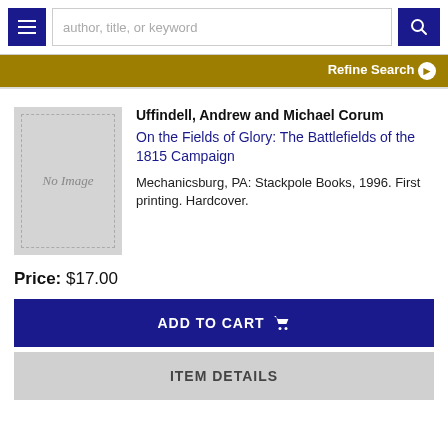author, title, or keyword
Refine Search
[Figure (illustration): Book cover placeholder showing 'No Image' text on a grey background with dashed border]
Uffindell, Andrew and Michael Corum
On the Fields of Glory: The Battlefields of the 1815 Campaign
Mechanicsburg, PA: Stackpole Books, 1996. First printing. Hardcover.
Price: $17.00
ADD TO CART
ITEM DETAILS